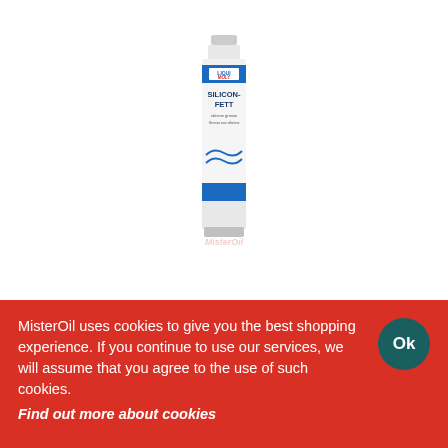[Figure (photo): A tube of Liqui-Moly Silicon-Fett (silicone grease) product, white tube with blue and red label, shown vertically. A faded MisterOil watermark is visible beneath the product.]
MisterOil uses cookies to give you the best shopping experience. If you continue to use our services, we will assume that you agree to the use of such cookies.
Find out more about cookies